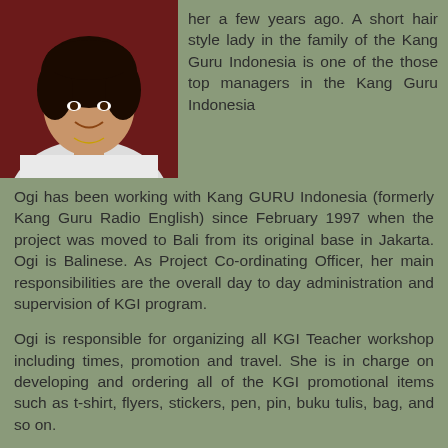[Figure (photo): Portrait photo of a smiling woman with short hair, wearing a white top and necklace, against a dark red background.]
her a few years ago. A short hair style lady in the family of the Kang Guru Indonesia is one of the those top managers in the Kang Guru Indonesia
Ogi has been working with Kang GURU Indonesia (formerly Kang Guru Radio English) since February 1997 when the project was moved to Bali from its original base in Jakarta. Ogi is Balinese. As Project Co-ordinating Officer, her main responsibilities are the overall day to day administration and supervision of KGI program.
Ogi is responsible for organizing all KGI Teacher workshop including times, promotion and travel. She is in charge on developing and ordering all of the KGI promotional items such as t-shirt, flyers, stickers, pen, pin, buku tulis, bag, and so on.
And another big task for Ogi is word processing, layout design and production of the KGI magazine (now bulletin). Ogi much appreciates the support given by thousands of KGI